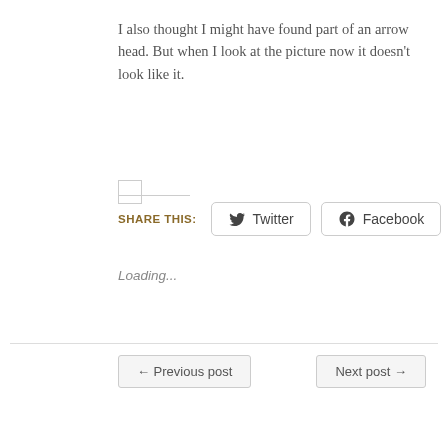I also thought I might have found part of an arrow head. But when I look at the picture now it doesn't look like it.
[Figure (other): Small placeholder image thumbnail (checkbox-like square outline)]
Share this:
Twitter  Facebook
Loading...
← Previous post
Next post →